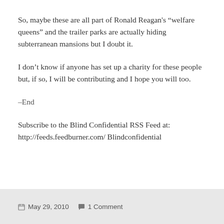So, maybe these are all part of Ronald Reagan’s “welfare queens” and the trailer parks are actually hiding subterranean mansions but I doubt it.
I don’t know if anyone has set up a charity for these people but, if so, I will be contributing and I hope you will too.
–End
Subscribe to the Blind Confidential RSS Feed at: http://feeds.feedburner.com/ Blindconfidential
May 29, 2010   1 Comment